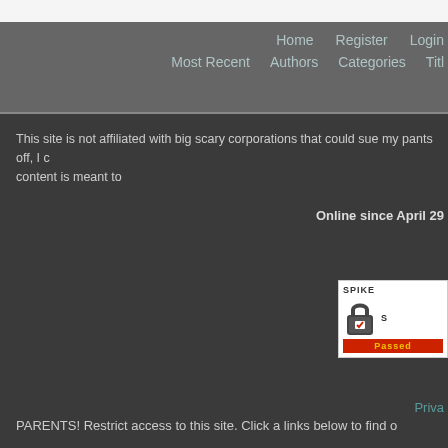Home   Register   Login   Most Recent   Authors   Categories   Titl
This site is not affiliated with big scary corporations that could sue my pants off, I … content is meant to
Online since April 29
[Figure (other): SPIKED security badge with padlock icon and 'Passed' label in red/yellow]
Priva
PARENTS! Restrict access to this site. Click a links below to find o